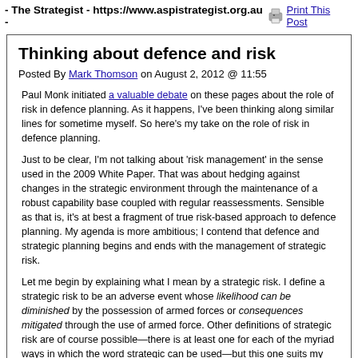- The Strategist - https://www.aspistrategist.org.au -    Print This Post
Thinking about defence and risk
Posted By Mark Thomson on August 2, 2012 @ 11:55
Paul Monk initiated a valuable debate on these pages about the role of risk in defence planning. As it happens, I've been thinking along similar lines for sometime myself. So here's my take on the role of risk in defence planning.
Just to be clear, I'm not talking about 'risk management' in the sense used in the 2009 White Paper. That was about hedging against changes in the strategic environment through the maintenance of a robust capability base coupled with regular reassessments. Sensible as that is, it's at best a fragment of true risk-based approach to defence planning. My agenda is more ambitious; I contend that defence and strategic planning begins and ends with the management of strategic risk.
Let me begin by explaining what I mean by a strategic risk. I define a strategic risk to be an adverse event whose likelihood can be diminished by the possession of armed forces or consequences mitigated through the use of armed force. Other definitions of strategic risk are of course possible—there is at least one for each of the myriad ways in which the word strategic can be used—but this one suits my purposes. (As an aside, Hugh White's carefully circumscribed definition of strategic interests bears close